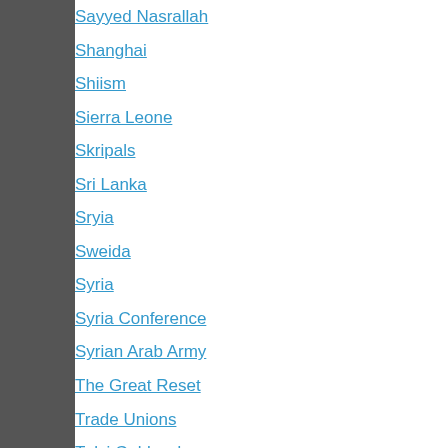Sayyed Nasrallah
Shanghai
Shiism
Sierra Leone
Skripals
Sri Lanka
Sryia
Sweida
Syria
Syria Conference
Syrian Arab Army
The Great Reset
Trade Unions
Tulsi Gabbard
Tunisia
Turkey